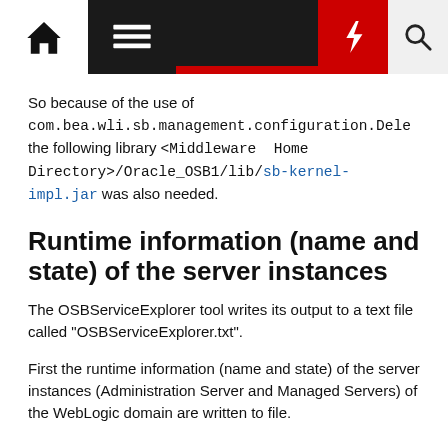Navigation bar with home, menu, bolt, and search icons
So because of the use of com.bea.wli.sb.management.configuration.Dele the following library <Middleware Home Directory>/Oracle_OSB1/lib/sb-kernel-impl.jar was also needed.
Runtime information (name and state) of the server instances
The OSBServiceExplorer tool writes its output to a text file called "OSBServiceExplorer.txt".
First the runtime information (name and state) of the server instances (Administration Server and Managed Servers) of the WebLogic domain are written to file.